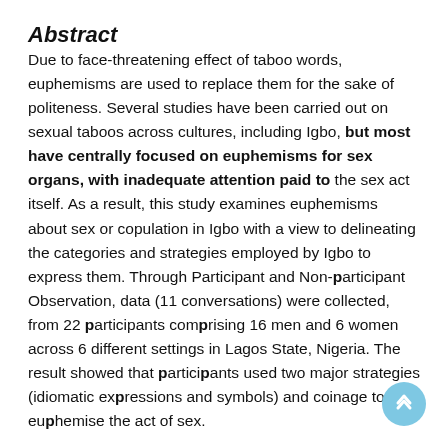Abstract
Due to face-threatening effect of taboo words, euphemisms are used to replace them for the sake of politeness. Several studies have been carried out on sexual taboos across cultures, including Igbo, but most have centrally focused on euphemisms for sex organs, with inadequate attention paid to the sex act itself. As a result, this study examines euphemisms about sex or copulation in Igbo with a view to delineating the categories and strategies employed by Igbo to express them. Through Participant and Non-participant Observation, data (11 conversations) were collected, from 22 participants comprising 16 men and 6 women across 6 different settings in Lagos State, Nigeria. The result showed that participants used two major strategies (idiomatic expressions and symbols) and coinage to euphemise the act of sex.